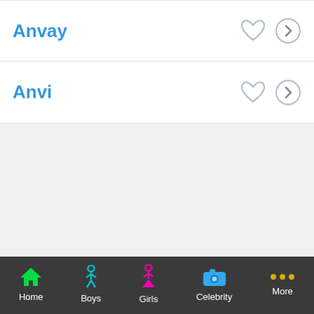Anvay
Anvi
Home  Boys  Girls  Celebrity  More